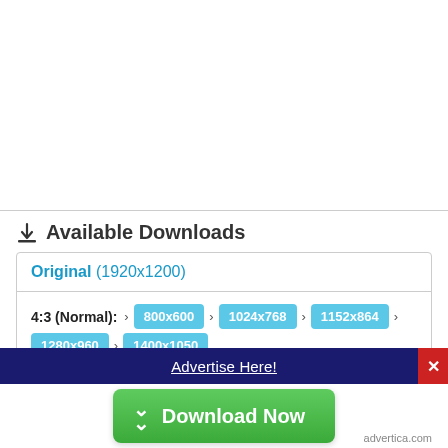Available Downloads
Original (1920x1200)
4:3 (Normal): > 800x600 > 1024x768 > 1152x864 > 1280x960 > 1400x1050
Advertise Here!
Download Now
advertica.com